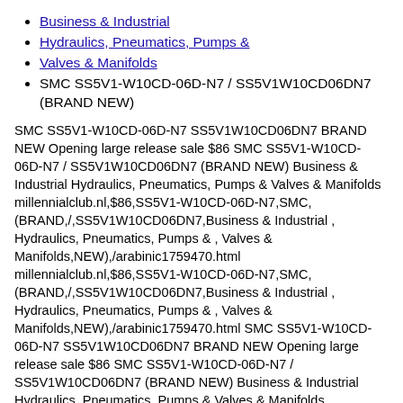Business & Industrial
Hydraulics, Pneumatics, Pumps &
Valves & Manifolds
SMC SS5V1-W10CD-06D-N7 / SS5V1W10CD06DN7 (BRAND NEW)
SMC SS5V1-W10CD-06D-N7 SS5V1W10CD06DN7 BRAND NEW Opening large release sale $86 SMC SS5V1-W10CD-06D-N7 / SS5V1W10CD06DN7 (BRAND NEW) Business & Industrial Hydraulics, Pneumatics, Pumps & Valves & Manifolds millennialclub.nl,$86,SS5V1-W10CD-06D-N7,SMC,(BRAND,/,SS5V1W10CD06DN7,Business & Industrial , Hydraulics, Pneumatics, Pumps & , Valves & Manifolds,NEW),/arabinic1759470.html millennialclub.nl,$86,SS5V1-W10CD-06D-N7,SMC,(BRAND,/,SS5V1W10CD06DN7,Business & Industrial , Hydraulics, Pneumatics, Pumps & , Valves & Manifolds,NEW),/arabinic1759470.html SMC SS5V1-W10CD-06D-N7 SS5V1W10CD06DN7 BRAND NEW Opening large release sale $86 SMC SS5V1-W10CD-06D-N7 / SS5V1W10CD06DN7 (BRAND NEW) Business & Industrial Hydraulics, Pneumatics, Pumps & Valves & Manifolds